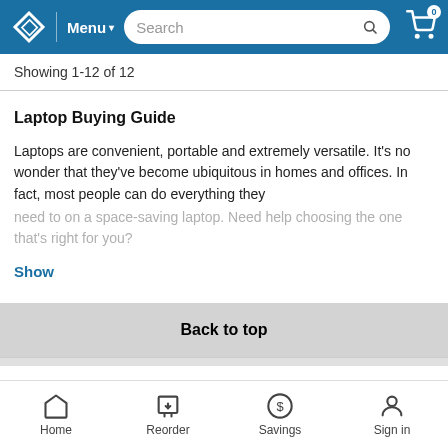[Figure (screenshot): E-commerce website header with logo, Menu dropdown, search bar, and shopping cart icon with 0 items]
Showing 1-12 of 12
Laptop Buying Guide
Laptops are convenient, portable and extremely versatile. It's no wonder that they've become ubiquitous in homes and offices. In fact, most people can do everything they need to on a space-saving laptop. Need help choosing the one that's right for you?
Show
Back to top
[Figure (screenshot): Mobile bottom navigation bar with Home, Reorder, Savings, and Sign in icons]